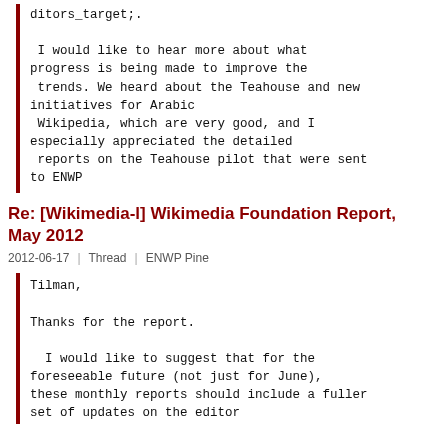ditors_target;.

 I would like to hear more about what progress is being made to improve the
 trends. We heard about the Teahouse and new initiatives for Arabic
 Wikipedia, which are very good, and I especially appreciated the detailed
 reports on the Teahouse pilot that were sent to ENWP
Re: [Wikimedia-l] Wikimedia Foundation Report, May 2012
2012-06-17  |  Thread  |  ENWP Pine
Tilman,

Thanks for the report.

  I would like to suggest that for the foreseeable future (not just for June), these monthly reports should include a fuller set of updates on the editor